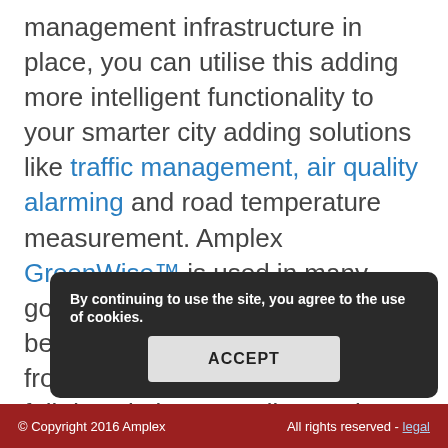management infrastructure in place, you can utilise this adding more intelligent functionality to your smarter city adding solutions like traffic management, air quality alarming and road temperature measurement. Amplex GreenWise™ is used in many government agencies to benchmark energy spendings from the local kindergarten to the full description... on power and water.
By continuing to use the site, you agree to the use of cookies.
ACCEPT
© Copyright 2016 Amplex   All rights reserved - legal